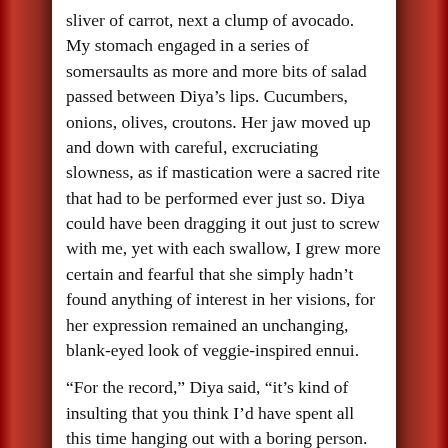sliver of carrot, next a clump of avocado. My stomach engaged in a series of somersaults as more and more bits of salad passed between Diya’s lips. Cucumbers, onions, olives, croutons. Her jaw moved up and down with careful, excruciating slowness, as if mastication were a sacred rite that had to be performed ever just so. Diya could have been dragging it out just to screw with me, yet with each swallow, I grew more certain and fearful that she simply hadn’t found anything of interest in her visions, for her expression remained an unchanging, blank-eyed look of veggie-inspired ennui.
“For the record,” Diya said, “it’s kind of insulting that you think I’d have spent all this time hanging out with a boring person. Granted, your social comfort zone is this teeny-tiny microscopic little